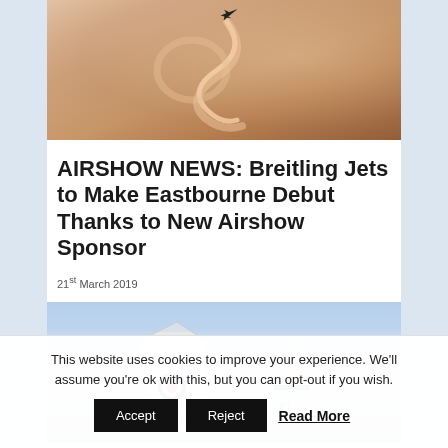[Figure (photo): Aerial display jet aircraft with coloured smoke trail against a warm hazy sky background]
AIRSHOW NEWS: Breitling Jets to Make Eastbourne Debut Thanks to New Airshow Sponsor
21st March 2019
[Figure (photo): Close-up photograph of two aircraft tail fins against a blue sky, showing RAF roundel and coloured stripe markings]
This website uses cookies to improve your experience. We'll assume you're ok with this, but you can opt-out if you wish.